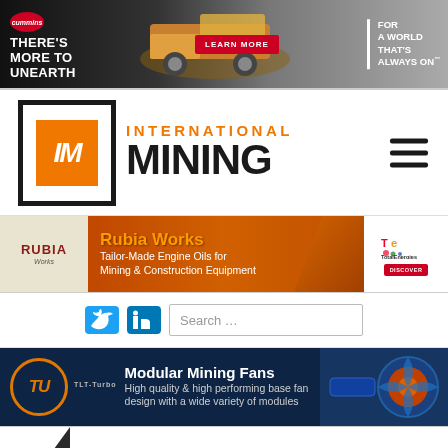[Figure (infographic): Cummins advertisement banner: 'THERE'S MORE TO UNEARTH' with mining truck image and 'LEARN MORE' button, tagline 'FOR A WORLD THAT'S ALWAYS ON']
[Figure (logo): International Mining (IM) logo with orange IM box and hamburger menu icon]
[Figure (infographic): Rubia Works advertisement: 'Tailor-Made Engine Oils for Mining & Construction Equipment' with TotalEnergies logo and DISCOVER button]
[Figure (infographic): Social media icons (Twitter, LinkedIn) and search bar]
[Figure (infographic): TLT-Turbo advertisement: 'Modular Mining Fans - High quality & high performing base fan design with a wide variety of modules']
Mapizy and Camp Connect boomed into Australia's